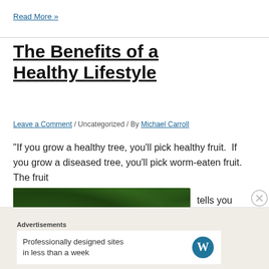Read More »
The Benefits of a Healthy Lifestyle
Leave a Comment / Uncategorized / By Michael Carroll
“If you grow a healthy tree, you’ll pick healthy fruit.  If you grow a diseased tree, you’ll pick worm-eaten fruit.  The fruit
[Figure (photo): Close-up photo of citrus fruits (lemons or oranges) on a tree with green leaves]
tells you about the tree.”lxxxi
Advertisements
Professionally designed sites in less than a week